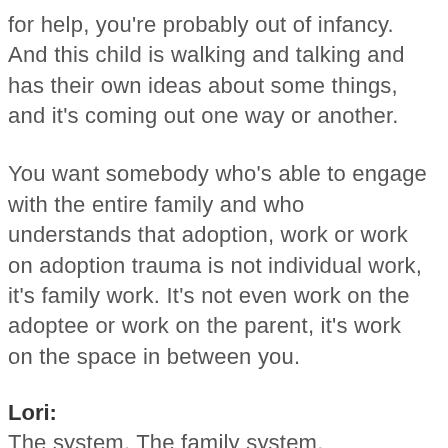for help, you're probably out of infancy. And this child is walking and talking and has their own ideas about some things, and it's coming out one way or another.
You want somebody who's able to engage with the entire family and who understands that adoption, work or work on adoption trauma is not individual work, it's family work. It's not even work on the adoptee or work on the parent, it's work on the space in between you.
Lori:
The system. The family system.